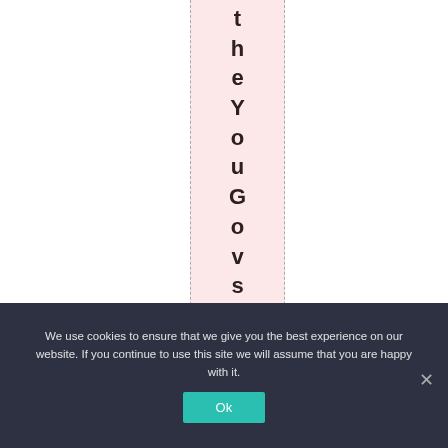theYouGovsurveythi
We use cookies to ensure that we give you the best experience on our website. If you continue to use this site we will assume that you are happy with it. Ok